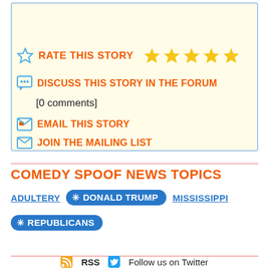RATE THIS STORY [5 stars]
DISCUSS THIS STORY IN THE FORUM
[0 comments]
EMAIL THIS STORY
JOIN THE MAILING LIST
COMEDY SPOOF NEWS TOPICS
ADULTERY
✳ DONALD TRUMP
MISSISSIPPI
✳ REPUBLICANS
RSS  Follow us on Twitter